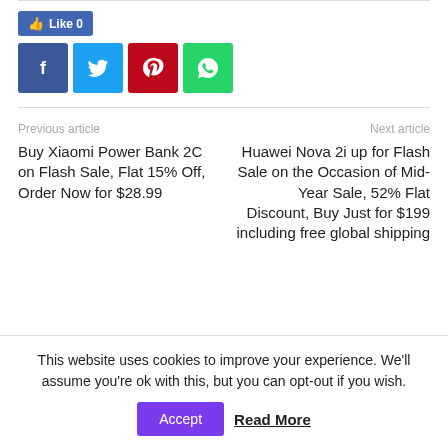[Figure (infographic): Social share buttons: Like 0 button (Facebook blue), and four icon boxes for Facebook (dark blue), Twitter (light blue), Pinterest (red), WhatsApp (green)]
Previous article
Next article
Buy Xiaomi Power Bank 2C on Flash Sale, Flat 15% Off, Order Now for $28.99
Huawei Nova 2i up for Flash Sale on the Occasion of Mid-Year Sale, 52% Flat Discount, Buy Just for $199 including free global shipping
This website uses cookies to improve your experience. We'll assume you're ok with this, but you can opt-out if you wish.
Accept  Read More